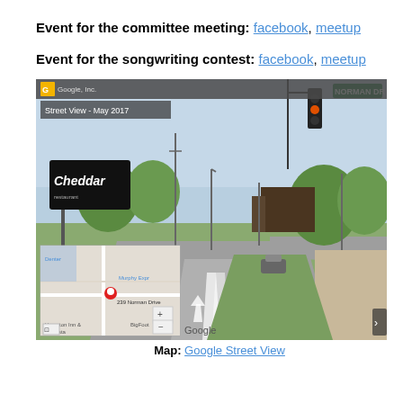Event for the committee meeting: facebook, meetup
Event for the songwriting contest: facebook, meetup
[Figure (screenshot): Google Street View image of an intersection showing Norman Dr street sign, a traffic light, a Cheddar's restaurant sign, trees and road. An inset Google Map shows the location pinned at 239 Norman Drive, Valdosta area.]
Map: Google Street View